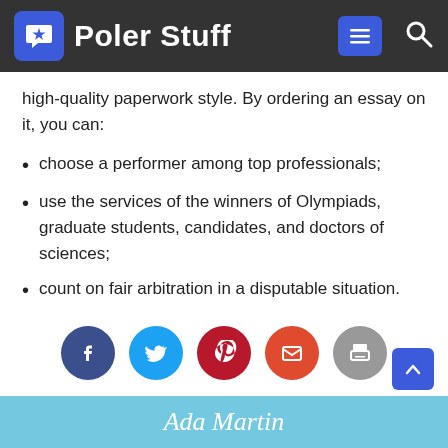Poler Stuff
high-quality paperwork style. By ordering an essay on it, you can:
choose a performer among top professionals;
use the services of the winners of Olympiads, graduate students, candidates, and doctors of sciences;
count on fair arbitration in a disputable situation.
[Figure (infographic): Social share buttons: Facebook, Twitter, Pinterest, Email, Print]
Ada Martin